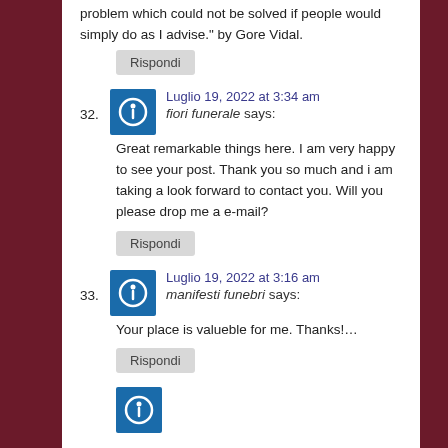problem which could not be solved if people would simply do as I advise." by Gore Vidal.
Rispondi
32.
Luglio 19, 2022 at 3:34 am
fiori funerale says:
Great remarkable things here. I am very happy to see your post. Thank you so much and i am taking a look forward to contact you. Will you please drop me a e-mail?
Rispondi
33.
Luglio 19, 2022 at 3:16 am
manifesti funebri says:
Your place is valueble for me. Thanks!…
Rispondi